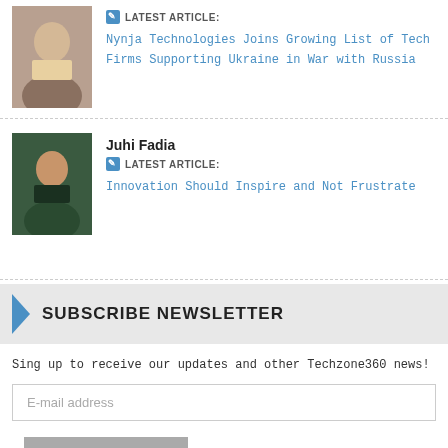[Figure (photo): Headshot of a middle-aged man in a suit with a yellow tie]
LATEST ARTICLE:
Nynja Technologies Joins Growing List of Tech Firms Supporting Ukraine in War with Russia
[Figure (photo): Headshot of Juhi Fadia, a young woman smiling]
Juhi Fadia
LATEST ARTICLE:
Innovation Should Inspire and Not Frustrate
SUBSCRIBE NEWSLETTER
Sing up to receive our updates and other Techzone360 news!
E-mail address
SUBSCRIBE